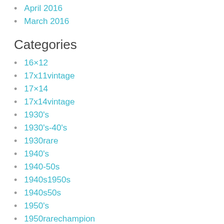April 2016
March 2016
Categories
16×12
17x11vintage
17×14
17x14vintage
1930's
1930's-40's
1930rare
1940's
1940-50s
1940s1950s
1940s50s
1950's
1950rarechampion
1960s
1960s-70s